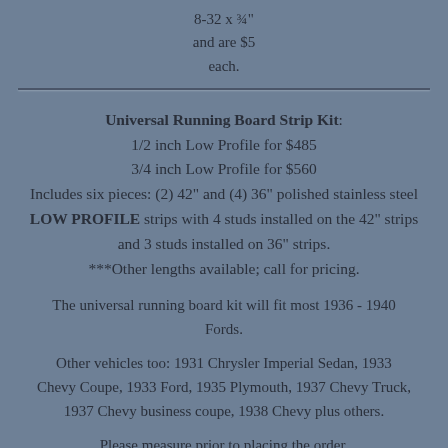8-32 x ¾"
and are $5
each.
Universal Running Board Strip Kit:
1/2 inch Low Profile for $485
3/4 inch Low Profile for $560
Includes six pieces: (2) 42" and (4) 36" polished stainless steel LOW PROFILE strips with 4 studs installed on the 42" strips and 3 studs installed on 36" strips.
***Other lengths available; call for pricing.
The universal running board kit will fit most 1936 - 1940 Fords.
Other vehicles too: 1931 Chrysler Imperial Sedan, 1933 Chevy Coupe, 1933 Ford, 1935 Plymouth, 1937 Chevy Truck, 1937 Chevy business coupe, 1938 Chevy plus others.
Please measure prior to placing the order.